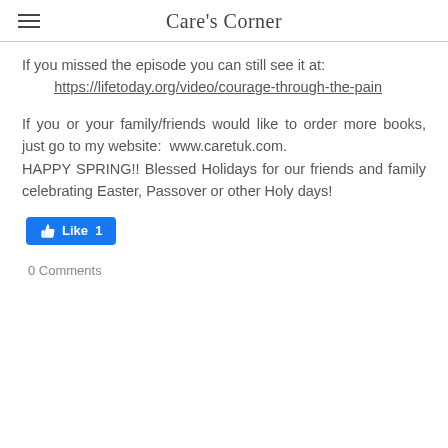Care's Corner
If you missed the episode you can still see it at:
        https://lifetoday.org/video/courage-through-the-pain
If you or your family/friends would like to order more books, just go to my website:  www.caretuk.com.
HAPPY SPRING!! Blessed Holidays for our friends and family celebrating Easter, Passover or other Holy days!
[Figure (other): Facebook Like button showing Like 1]
0 Comments